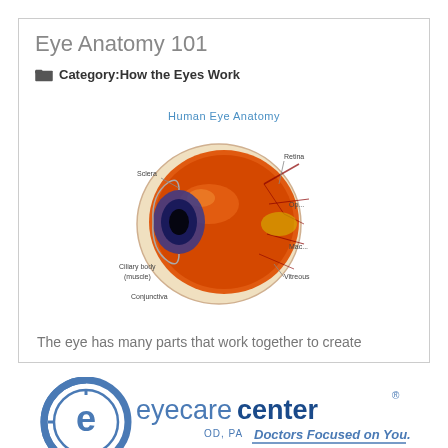Eye Anatomy 101
Category: How the Eyes Work
[Figure (illustration): Human Eye Anatomy diagram showing a cross-section of the human eye with labeled parts including sclera, retina, ciliary body, lens, vitreous, and conjunctiva. The eye is depicted in orange and red tones with blue pupil/iris area.]
The eye has many parts that work together to create
[Figure (logo): Eyecare Center logo with blue circular 'e' icon, text 'eyecarecenter OD, PA' and tagline 'Doctors Focused on You.']
MENU
(704) 541-5500